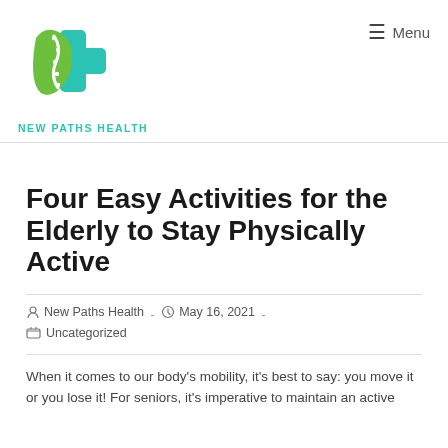[Figure (logo): New Paths Health logo: green and teal cross/plus with spine/path design, with 'NEW PATHS HEALTH' text below in teal]
≡ Menu
Four Easy Activities for the Elderly to Stay Physically Active
New Paths Health  -  May 16, 2021  -  Uncategorized
When it comes to our body's mobility, it's best to say: you move it or you lose it! For seniors, it's imperative to maintain an active